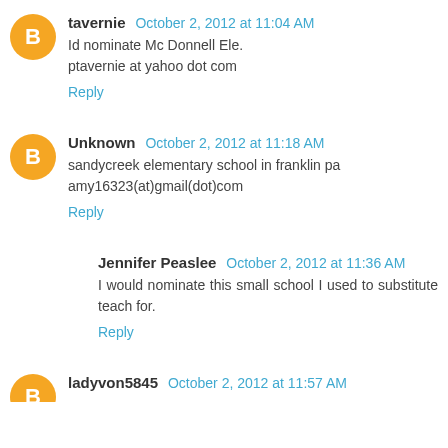tavernie  October 2, 2012 at 11:04 AM
Id nominate Mc Donnell Ele.
ptavernie at yahoo dot com
Reply
Unknown  October 2, 2012 at 11:18 AM
sandycreek elementary school in franklin pa
amy16323(at)gmail(dot)com
Reply
Jennifer Peaslee  October 2, 2012 at 11:36 AM
I would nominate this small school I used to substitute teach for.
Reply
ladyvon5845  October 2, 2012 at 11:57 AM